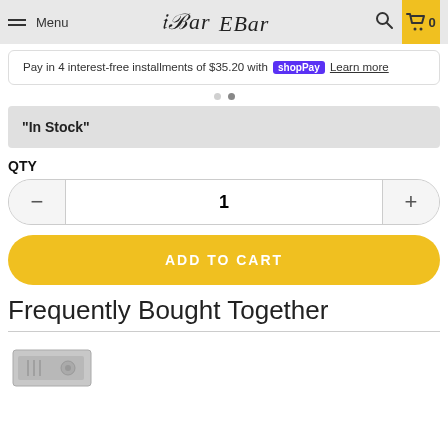Menu | EBar | Search | Cart 0
Pay in 4 interest-free installments of $35.20 with Shop Pay Learn more
"In Stock"
QTY
1
ADD TO CART
Frequently Bought Together
[Figure (photo): Product thumbnail image of a gray electronic device/box]